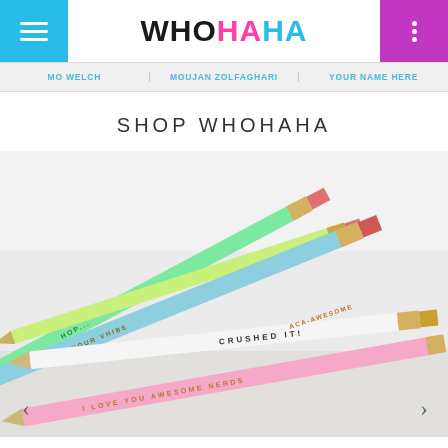WHOHAHA
MO WELCH
MOUJAN ZOLFAGHARI
YOUR NAME HERE
SHOP WHOHAHA
[Figure (photo): Four pencils arranged diagonally on a white/gray surface. A green pencil labeled partially visible text, a blue pencil labeled 'GNE YOUR VHIBE', a white pencil labeled 'CRUSHED IT!', and a pink pencil labeled 'I LOVE YOU AWESOME NERDS'. A yellow-green pencil also visible. Pencils have gold foil text and red erasers with gold ferrules.]